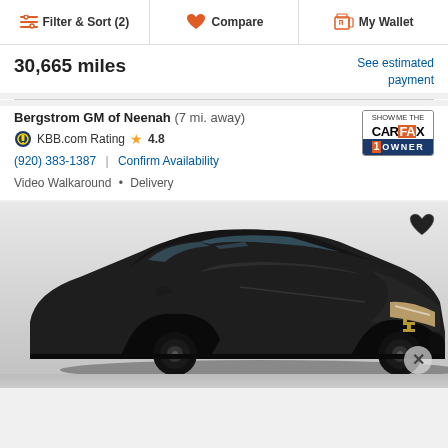Filter & Sort (2) | Compare | My Wallet
30,665 miles
See estimated payment
Bergstrom GM of Neenah (7 mi. away)
KBB.com Rating ★ 4.8
(920) 383-1387 | Confirm Availability
Video Walkaround • Delivery
[Figure (photo): Dark charcoal/black Chevrolet Malibu sedan photographed from front-left angle in a dealer showroom with white walls. A heart/favorite icon appears in the upper right of the image. A close (X) button appears at the bottom right.]